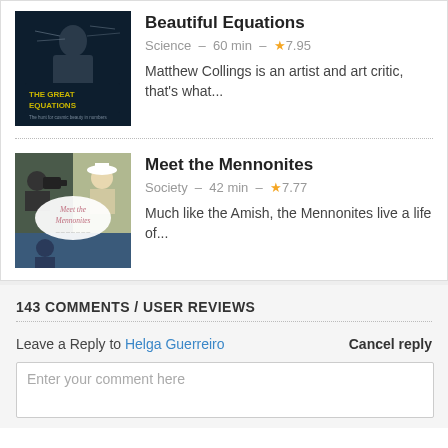[Figure (photo): Book cover for 'The Great Equations' showing a person at a chalkboard with equations]
Beautiful Equations
Science - 60 min - ★7.95
Matthew Collings is an artist and art critic, that's what...
[Figure (photo): Cover for 'Meet the Mennonites' showing people including someone with a camera]
Meet the Mennonites
Society - 42 min - ★7.77
Much like the Amish, the Mennonites live a life of...
143 COMMENTS / USER REVIEWS
Leave a Reply to Helga Guerreiro
Cancel reply
Enter your comment here